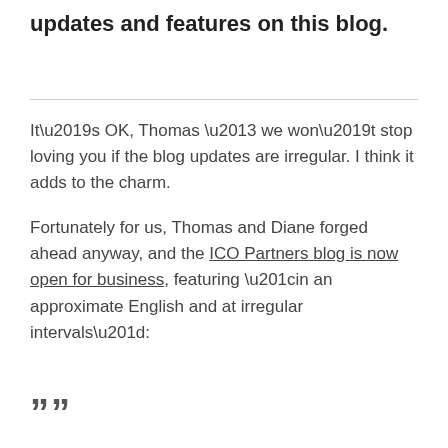updates and features on this blog.
It’s OK, Thomas – we won’t stop loving you if the blog updates are irregular. I think it adds to the charm.
Fortunately for us, Thomas and Diane forged ahead anyway, and the ICO Partners blog is now open for business, featuring “in an approximate English and at irregular intervals”:
””